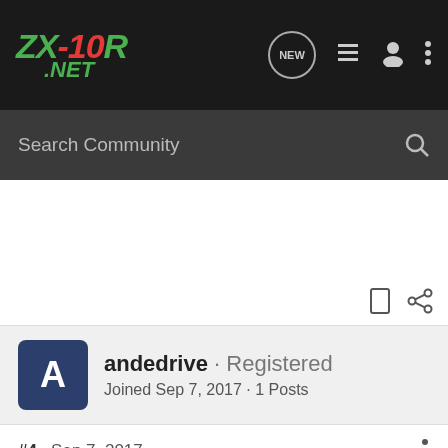ZX-10R.NET
Search Community
andedrive · Registered
Joined Sep 7, 2017 · 1 Posts
#4 · Sep 7, 2017
Porschenut said: ↑
You could also make the same mistake I made the other day and that was to not attach the fuel line back onto the tank properly. I noticed the problem when the bike seemed down on power through the mid